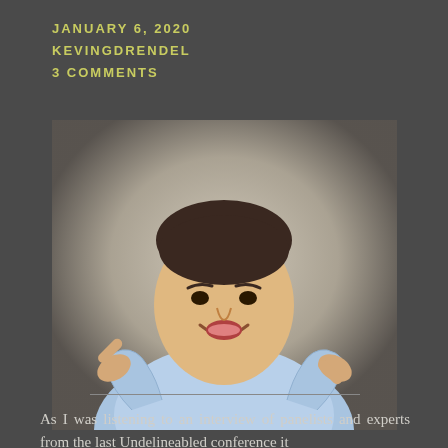JANUARY 6, 2020
KEVINGDRENDEL
3 COMMENTS
[Figure (photo): A man in a light blue shirt smiling and pointing both index fingers forward with thumbs up, against a grey background.]
As I was listening to an interview of panelists and experts from the last Undelineabled conference it